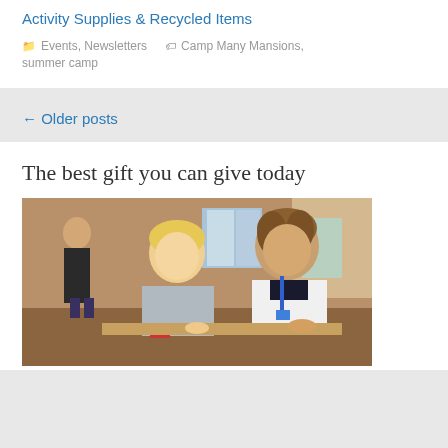Activity Supplies & Recycled Items
Events, Newsletters   Camp Many Mansions, summer camp
← Older posts
The best gift you can give today
[Figure (photo): A young blonde boy and an older teenage boy with a blue lanyard sitting together at a table, appearing to work on something. A girl stands in the background.]